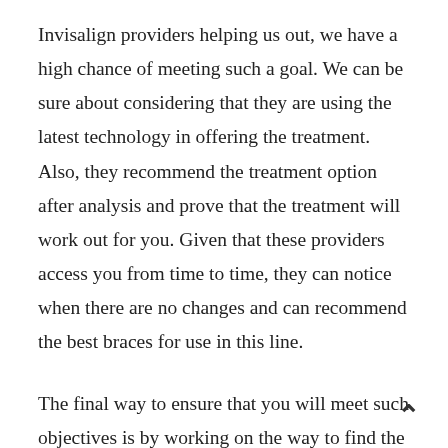Invisalign providers helping us out, we have a high chance of meeting such a goal. We can be sure about considering that they are using the latest technology in offering the treatment. Also, they recommend the treatment option after analysis and prove that the treatment will work out for you. Given that these providers access you from time to time, they can notice when there are no changes and can recommend the best braces for use in this line.
The final way to ensure that you will meet such objectives is by working on the way to find the best providers in Invisalign treatment. The best way to meet such a goal is finding providers who have the best reviews in this line. Also, we can find providers in our area since finding their services is not a problem.